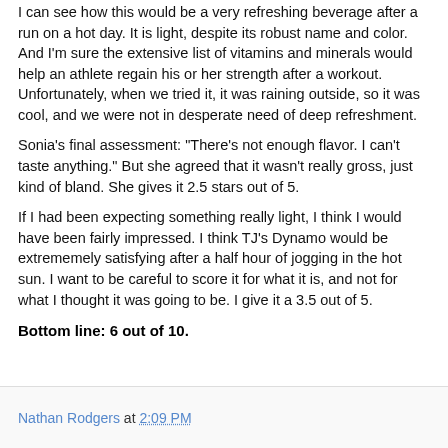I can see how this would be a very refreshing beverage after a run on a hot day. It is light, despite its robust name and color. And I'm sure the extensive list of vitamins and minerals would help an athlete regain his or her strength after a workout. Unfortunately, when we tried it, it was raining outside, so it was cool, and we were not in desperate need of deep refreshment.
Sonia's final assessment: "There's not enough flavor. I can't taste anything." But she agreed that it wasn't really gross, just kind of bland. She gives it 2.5 stars out of 5.
If I had been expecting something really light, I think I would have been fairly impressed. I think TJ's Dynamo would be extrememely satisfying after a half hour of jogging in the hot sun. I want to be careful to score it for what it is, and not for what I thought it was going to be. I give it a 3.5 out of 5.
Bottom line: 6 out of 10.
Nathan Rodgers at 2:09 PM